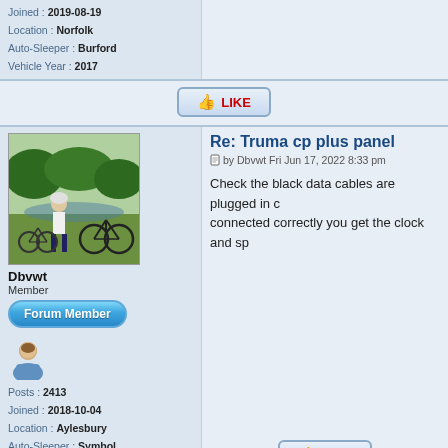Joined : 2019-08-19
Location : Norfolk
Auto-Sleeper : Burford
Vehicle Year : 2017
[Figure (illustration): LIKE button with thumbs up icon]
Re: Truma cp plus panel
by Dbvwt Fri Jun 17, 2022 8:33 pm
Check the black data cables are plugged in c... connected correctly you get the clock and sp...
[Figure (photo): User Dbvwt avatar: person with bicycle in outdoor park setting]
Dbvwt
Member
[Figure (illustration): Forum Member badge button]
[Figure (illustration): Generic user icon]
Posts : 2413
Joined : 2018-10-04
Location : Aylesbury
Auto-Sleeper : Symbol
Vehicle Year : 2018
[Figure (illustration): LIKE button with thumbs up icon]